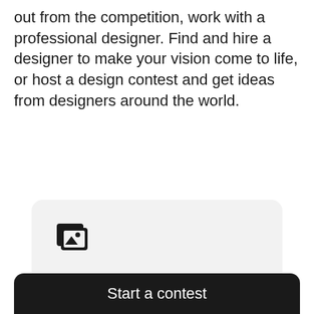out from the competition, work with a professional designer. Find and hire a designer to make your vision come to life, or host a design contest and get ideas from designers around the world.
[Figure (illustration): Icon showing stacked image/photo cards with symbols representing design/photo content]
Start a contest
Designers from around the world pitch you ideas. You provide feedback, hone your favorites and choose a winner.
Start a contest